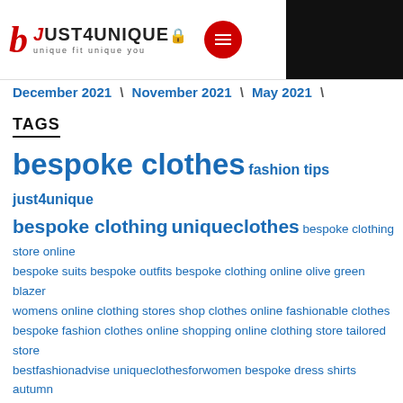[Figure (logo): Just4Unique logo with red stylized b, brand name JUST4UNIQUE, tagline unique fit unique you, red circle menu button, black rectangle on right]
December 2021 \ November 2021 \ May 2021 \
TAGS
bespoke clothes fashion tips just4unique bespoke clothing uniqueclothes bespoke clothing store online bespoke suits bespoke outfits bespoke clothing online olive green blazer womens online clothing stores shop clothes online fashionable clothes bespoke fashion clothes online shopping online clothing store tailored store bestfashionadvise uniqueclothesforwomen bespoke dress shirts autumn outfit fall outfit made to measure clothes dress for women wedding guest dresses tailored clothes flared skinny jeans denim crop jeans custom jackets checkered-outfit men's alterations made to measure women's jeans blazer and skirt best online clothes shopping chiffon tops stand collar